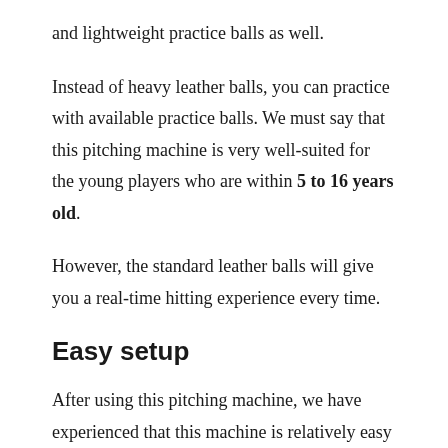and lightweight practice balls as well.
Instead of heavy leather balls, you can practice with available practice balls. We must say that this pitching machine is very well-suited for the young players who are within 5 to 16 years old.
However, the standard leather balls will give you a real-time hitting experience every time.
Easy setup
After using this pitching machine, we have experienced that this machine is relatively easy to set up.